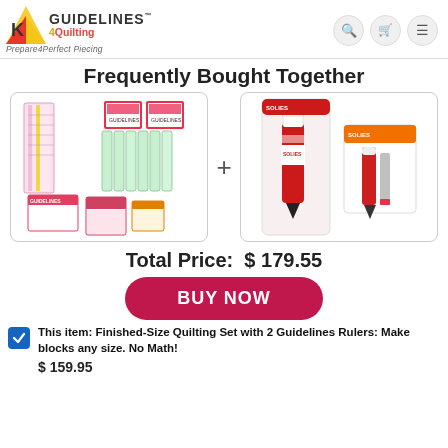Guidelines4Quilting — Prepare4Perfect Piecing
Frequently Bought Together
[Figure (photo): Product bundle image: Finished-Size Quilting Set with rulers and accessories on left, plus a marking pen/tool set on right, separated by a plus sign.]
Total Price:  $ 179.55
BUY NOW
This item: Finished-Size Quilting Set with 2 Guidelines Rulers: Make blocks any size. No Math!
$ 159.95